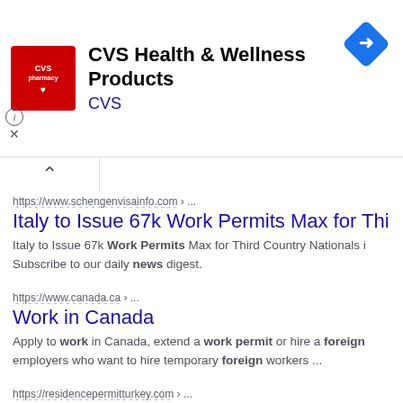[Figure (screenshot): CVS pharmacy advertisement banner with red CVS logo on left, text 'CVS Health & Wellness Products' and 'CVS' in blue, and a blue navigation/directions diamond icon on the right. Info icon (i) and X close button at bottom left.]
[Figure (screenshot): Collapsed panel tab with chevron/caret up arrow]
https://www.schengenvisainfo.com › ...
Italy to Issue 67k Work Permits Max for Third C
Italy to Issue 67k Work Permits Max for Third Country Nationals i Subscribe to our daily news digest.
https://www.canada.ca › ...
Work in Canada
Apply to work in Canada, extend a work permit or hire a foreign employers who want to hire temporary foreign workers ...
https://residencepermitturkey.com › ...
TURKEY WORK PERMIT APPLICATION UNDER
이 사이트 정보 — Revised May, 2022 – Resource, Turkish Ministry Family